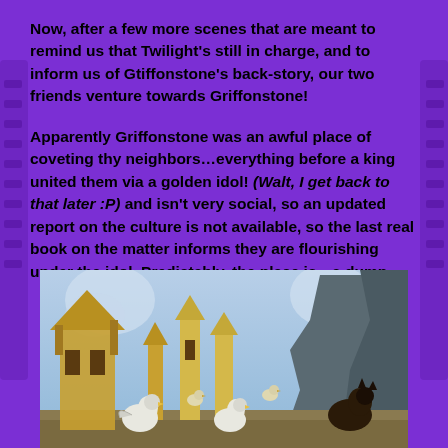Now, after a few more scenes that are meant to remind us that Twilight's still in charge, and to inform us of Gtiffonstone's back-story, our two friends venture towards Griffonstone!
Apparently Griffonstone was an awful place of coveting thy neighbors…everything before a king united them via a golden idol! (Walt, I get back to that later :P) and isn't very social, so an updated report on the culture is not available, so the last real book on the matter informs they are flourishing under the idol. Predictably, the place is…a dump.
[Figure (illustration): Animated scene showing griffon characters in a ruined, dilapidated fantasy town setting with broken buildings, rocky terrain, and stylized sky with swirling clouds.]